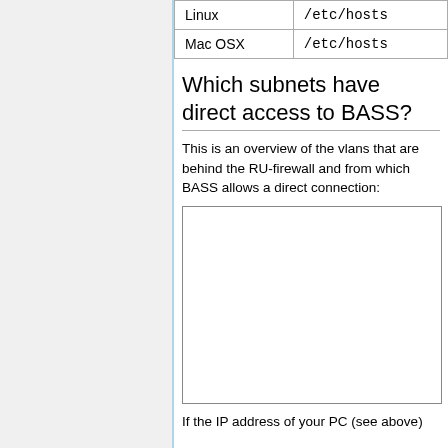| Linux | /etc/hosts |
| --- | --- |
| Mac OSX | /etc/hosts |
Which subnets have direct access to BASS?
This is an overview of the vlans that are behind the RU-firewall and from which BASS allows a direct connection:
[Figure (screenshot): Embedded image/screenshot (content not visible)]
If the IP address of your PC (see above)